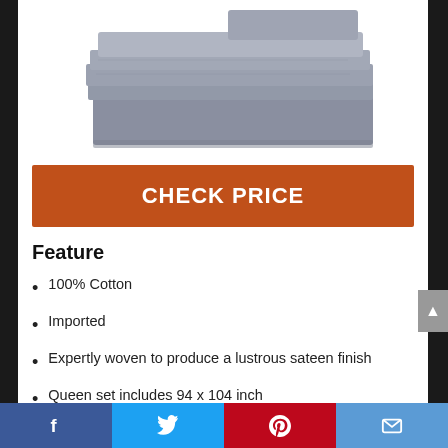[Figure (photo): Folded grey cotton bed sheets stacked neatly, shown from above on a white background]
CHECK PRICE
Feature
100% Cotton
Imported
Expertly woven to produce a lustrous sateen finish
Queen set includes 94 x 104 inch
Facebook | Twitter | Pinterest | Email